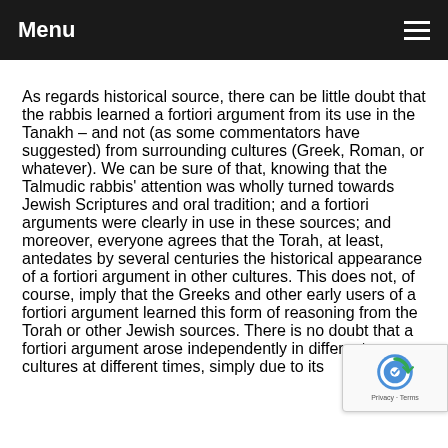Menu
As regards historical source, there can be little doubt that the rabbis learned a fortiori argument from its use in the Tanakh – and not (as some commentators have suggested) from surrounding cultures (Greek, Roman, or whatever). We can be sure of that, knowing that the Talmudic rabbis' attention was wholly turned towards Jewish Scriptures and oral tradition; and a fortiori arguments were clearly in use in these sources; and moreover, everyone agrees that the Torah, at least, antedates by several centuries the historical appearance of a fortiori argument in other cultures. This does not, of course, imply that the Greeks and other early users of a fortiori argument learned this form of reasoning from the Torah or other Jewish sources. There is no doubt that a fortiori argument arose independently in different cultures at different times, simply due to its